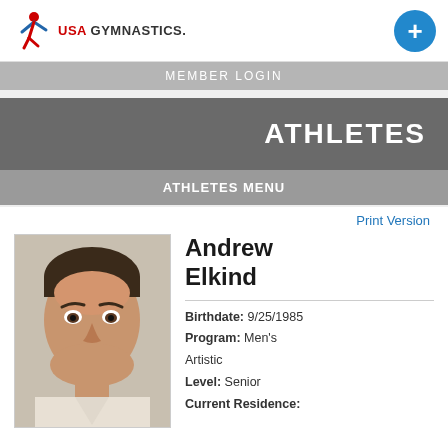[Figure (logo): USA Gymnastics logo with red/blue gymnast figure icon and text 'USA GYMNASTICS.']
MEMBER LOGIN
ATHLETES
ATHLETES MENU
Print Version
[Figure (photo): Headshot photo of Andrew Elkind, a young man with dark hair, smiling, wearing a light-colored shirt.]
Andrew Elkind
Birthdate: 9/25/1985
Program: Men's Artistic
Level: Senior
Current Residence: